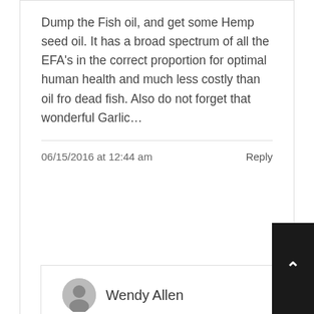Dump the Fish oil, and get some Hemp seed oil. It has a broad spectrum of all the EFA's in the correct proportion for optimal human health and much less costly than oil fro dead fish. Also do not forget that wonderful Garlic...
06/15/2016 at 12:44 am   Reply
Wendy Allen
I have not tried Hemp oil yet, but fish oil is awsome